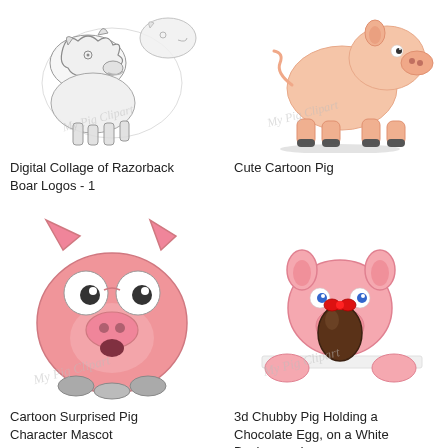[Figure (illustration): Digital collage of multiple razorback boar logo sketches in black and white ink style, with 'My Pig Clipart' watermark]
Digital Collage of Razorback Boar Logos - 1
[Figure (illustration): Cute cartoon pig standing, peach/pink color, realistic style with shadow beneath hooves, with 'My Pig Clipart' watermark]
Cute Cartoon Pig
[Figure (illustration): Cartoon surprised pig character mascot, round fat pink body, large googly eyes, small hooves, with 'My Pig Clipart' watermark]
Cartoon Surprised Pig Character Mascot
[Figure (illustration): 3d chubby pink pig holding a chocolate egg with red ribbon bow, leaning over white surface, with 'My Pig Clipart' watermark]
3d Chubby Pig Holding a Chocolate Egg, on a White Background